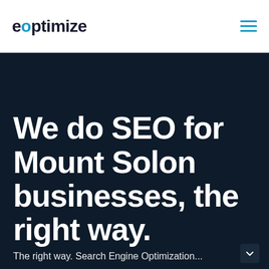eoptimize
We do SEO for Mount Solon businesses, the right way.
The right way. Search Engine Optimization...